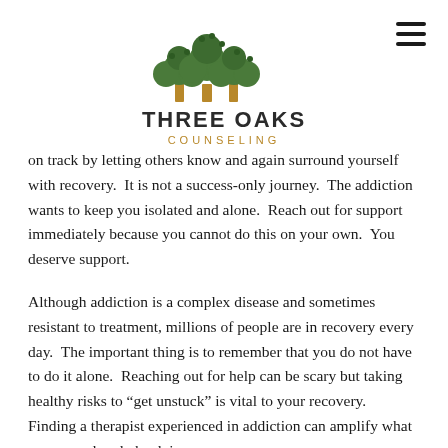[Figure (logo): Three Oaks Counseling logo with a stylized tree and text 'THREE OAKS COUNSELING']
on track by letting others know and again surround yourself with recovery.  It is not a success-only journey.  The addiction wants to keep you isolated and alone.  Reach out for support immediately because you cannot do this on your own.  You deserve support.
Although addiction is a complex disease and sometimes resistant to treatment, millions of people are in recovery every day.  The important thing is to remember that you do not have to do it alone.  Reaching out for help can be scary but taking healthy risks to “get unstuck” is vital to your recovery.  Finding a therapist experienced in addiction can amplify what you may already be doing